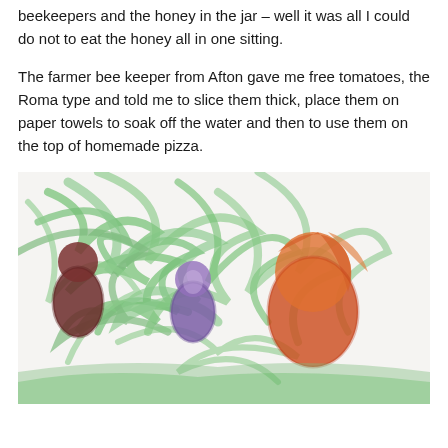beekeepers and the honey in the jar – well it was all I could do not to eat the honey all in one sitting.
The farmer bee keeper from Afton gave me free tomatoes, the Roma type and told me to slice them thick, place them on paper towels to soak off the water and then to use them on the top of homemade pizza.
[Figure (illustration): A child's crayon drawing on white paper showing colorful figures against a green scribbled background. There are figures in red/orange, purple, and dark green/maroon colors drawn with heavy crayon strokes.]